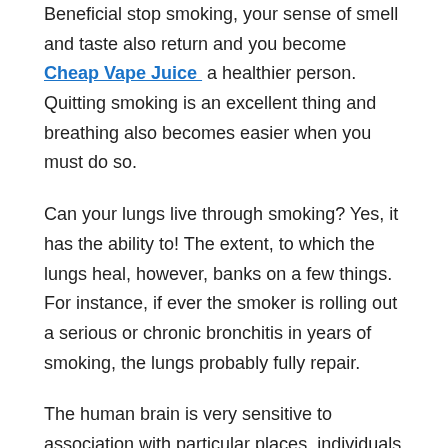Beneficial stop smoking, your sense of smell and taste also return and you become Cheap Vape Juice a healthier person. Quitting smoking is an excellent thing and breathing also becomes easier when you must do so.
Can your lungs live through smoking? Yes, it has the ability to! The extent, to which the lungs heal, however, banks on a few things. For instance, if ever the smoker is rolling out a serious or chronic bronchitis in years of smoking, the lungs probably fully repair.
The human brain is very sensitive to association with particular places, individuals and events. That receptive within the places which remind it of period when smoking was done around consumers. It is far better to move some furniture sign in office and home. Each one of the smokers who are accustomed to smoking around certain places will feel disturbed in the event the furniture is relocated. Moving water filters, telephone etc and discarding ashtrays, lighters etc enable you to you in dissociating with smoking. Simply keep in ensure it are not a nice environment...